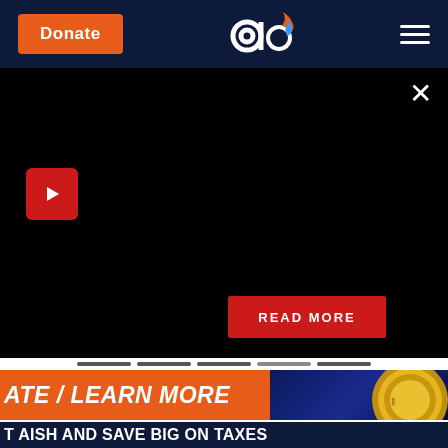Donate | [logo: ao with flame] | [hamburger menu]
[Figure (screenshot): Black video player area with red play button in top left and X close button in top right. A red READ MORE button appears in the lower right of the video area.]
READ MORE
[Figure (infographic): Orange banner with italic bold text reading ATE / LEARN MORE, and a gold digital currency coin on blue circuit background to the right.]
ATE / LEARN MORE
T AISH AND SAVE BIG ON TAXES